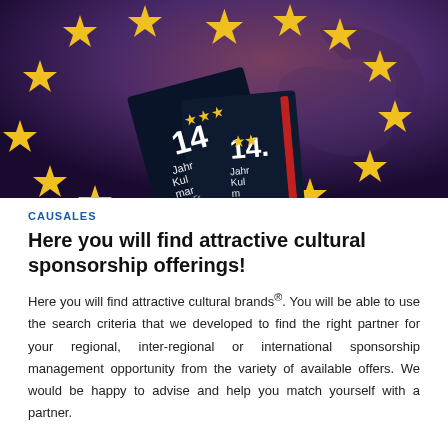[Figure (photo): Photo of EU flag with gold stars on purple/dark background, with dark book/booklet covers showing '14. Jahr Kul...' text visible in foreground]
CAUSALES
Here you will find attractive cultural sponsorship offerings!
Here you will find attractive cultural brands®. You will be able to use the search criteria that we developed to find the right partner for your regional, inter-regional or international sponsorship management opportunity from the variety of available offers. We would be happy to advise and help you match yourself with a partner.